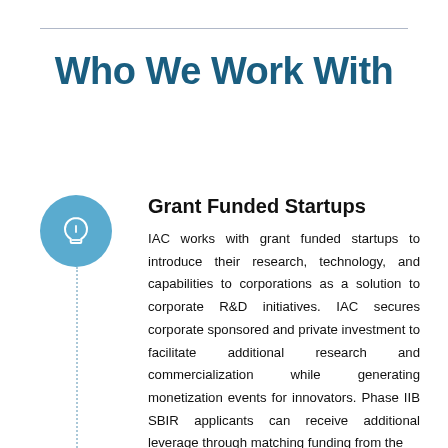Who We Work With
[Figure (illustration): Light bulb icon inside a blue circle, with a dotted vertical line extending downward]
Grant Funded Startups
IAC works with grant funded startups to introduce their research, technology, and capabilities to corporations as a solution to corporate R&D initiatives. IAC secures corporate sponsored and private investment to facilitate additional research and commercialization while generating monetization events for innovators. Phase IIB SBIR applicants can receive additional leverage through matching funding from the